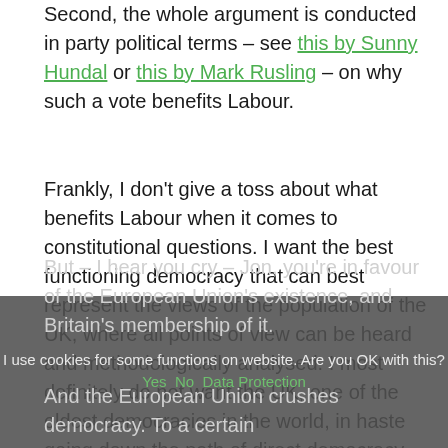Second, the whole argument is conducted in party political terms – see this by Sunny Hundal or this by Mark Rusling – on why such a vote benefits Labour.
Frankly, I don't give a toss about what benefits Labour when it comes to constitutional questions. I want the best functioning democracy that can best represent the views of the population of the UK, where all points of view can be heard and methodologically analysed. I most definitely do not want the UK, one of the oldest democracies in the world, in haste going down the path of direct democracy just because it might win Labour a few votes at the 2015 general election by making such a call.
But – I hear you cry – Jon, you're in favour of the European Union's existence, and Britain's membership of it.
I use cookies for some functions on website. Are you OK with this?
Yes  No  Data Protection
And the European Union crushes democracy. To a certain